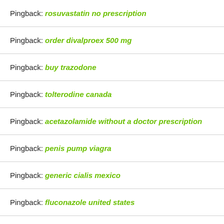Pingback: rosuvastatin no prescription
Pingback: order divalproex 500 mg
Pingback: buy trazodone
Pingback: tolterodine canada
Pingback: acetazolamide without a doctor prescription
Pingback: penis pump viagra
Pingback: generic cialis mexico
Pingback: fluconazole united states
Pingback: phenytoin 100mg pills